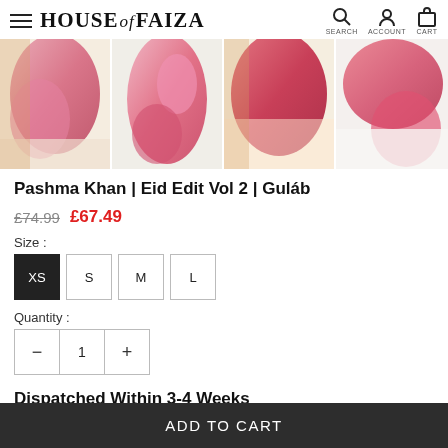HOUSE of FAIZA
[Figure (photo): Four thumbnail images of pink/red draped fabric garments from Pashma Khan Eid Edit Vol 2 Gulab collection]
Pashma Khan | Eid Edit Vol 2 | Guláb
£74.99  £67.49
Size :
XS  S  M  L
Quantity :
— 1 +
Dispatched Within 3-4 Weeks
ADD TO CART